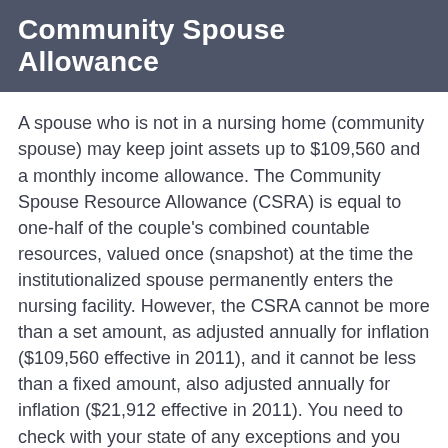Community Spouse Allowance
A spouse who is not in a nursing home (community spouse) may keep joint assets up to $109,560 and a monthly income allowance. The Community Spouse Resource Allowance (CSRA) is equal to one-half of the couple's combined countable resources, valued once (snapshot) at the time the institutionalized spouse permanently enters the nursing facility. However, the CSRA cannot be more than a set amount, as adjusted annually for inflation ($109,560 effective in 2011), and it cannot be less than a fixed amount, also adjusted annually for inflation ($21,912 effective in 2011). You need to check with your state of any exceptions and you need to understand the “snapshot” of your assets on the date the spouse is permanently institutionalized. Laws and rules